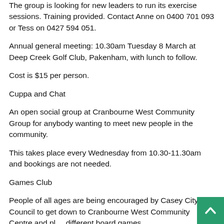The group is looking for new leaders to run its exercise sessions. Training provided. Contact Anne on 0400 701 093 or Tess on 0427 594 051.
Annual general meeting: 10.30am Tuesday 8 March at Deep Creek Golf Club, Pakenham, with lunch to follow.
Cost is $15 per person.
Cuppa and Chat
An open social group at Cranbourne West Community Group for anybody wanting to meet new people in the community.
This takes place every Wednesday from 10.30-11.30am and bookings are not needed.
Games Club
People of all ages are being encouraged by Casey City Council to get down to Cranbourne West Community Centre and play different board games.